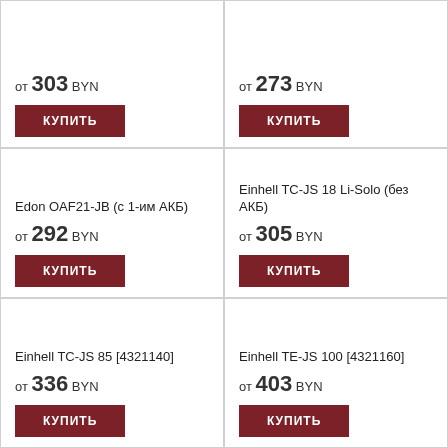от 303 BYN
КУПИТЬ
от 273 BYN
КУПИТЬ
Edon OAF21-JB (с 1-им АКБ)
от 292 BYN
КУПИТЬ
Einhell TC-JS 18 Li-Solo (без АКБ)
от 305 BYN
КУПИТЬ
Einhell TC-JS 85 [4321140]
от 336 BYN
КУПИТЬ
Einhell TE-JS 100 [4321160]
от 403 BYN
КУПИТЬ